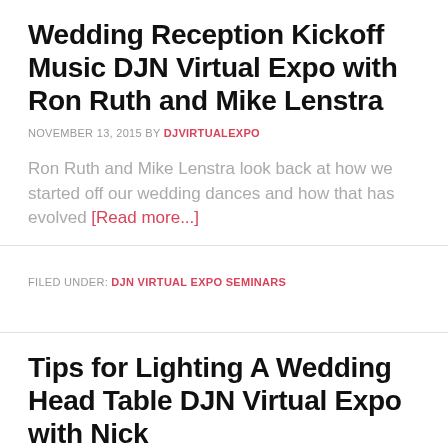Wedding Reception Kickoff Music DJN Virtual Expo with Ron Ruth and Mike Lenstra
NOVEMBER 13, 2015 BY DJVIRTUALEXPO
Ron Ruth and Mike Lenstra look back at how we started off our wedding dances and how that has evolved [Read more...]
FILED UNDER: DJN VIRTUAL EXPO SEMINARS
Tips for Lighting A Wedding Head Table DJN Virtual Expo with Nick